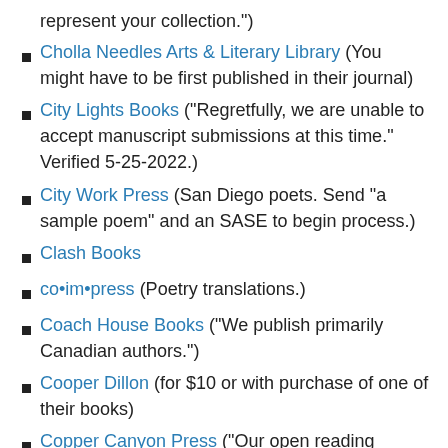represent your collection.")
Cholla Needles Arts & Literary Library (You might have to be first published in their journal)
City Lights Books (“Regretfully, we are unable to accept manuscript submissions at this time.” Verified 5-25-2022.)
City Work Press (San Diego poets. Send “a sample poem” and an SASE to begin process.)
Clash Books
co•im•press (Poetry translations.)
Coach House Books (“We publish primarily Canadian authors.”)
Cooper Dillon (for $10 or with purchase of one of their books)
Copper Canyon Press (“Our open reading periods, held at least twice per year,” but the open months